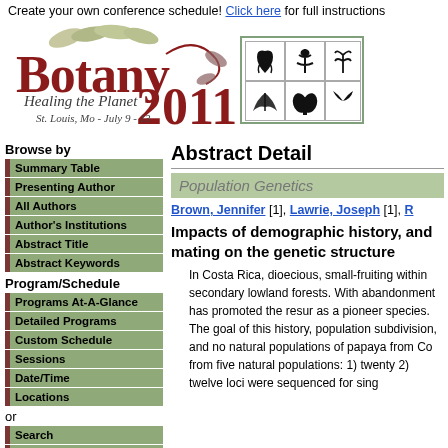Create your own conference schedule! Click here for full instructions
[Figure (logo): Botany 2011 - Healing the Planet, St. Louis, Mo - July 9-13 conference logo with botanical illustrations and plant silhouette icons]
Browse by
Summary Table
Presenting Author
All Authors
Author's Institutions
Abstract Title
Abstract Keywords
Program/Schedule
Programs At-A-Glance
Detailed Programs
Custom Schedule
Sessions
Date/Time
Locations
or
Search
Botany 2011 Home
View Attendees
Abstract Detail
Population Genetics
Brown, Jennifer [1], Lawrie, Joseph [1], R...
Impacts of demographic history, and mating on the genetic structure
In Costa Rica, dioecious, small-fruiting within secondary lowland forests. With abandonment has promoted the resur as a pioneer species. The goal of this history, population subdivision, and no natural populations of papaya from Co from five natural populations: 1) twenty 2) twelve loci were sequenced for sing